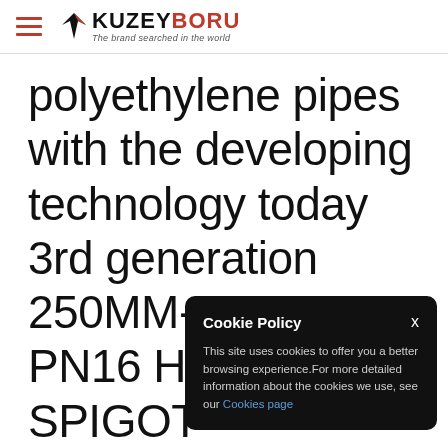KUZEYBORU — The brand searched in the world
polyethylene pipes with the developing technology today 3rd generation 250MM-180MM PN16 HDPE SPIGOT REDUCER raw materia... water li... treatme... biologi...
[Figure (other): Cookie Policy popup overlay on dark background with close button X, body text about cookies, and a Cookies page link]